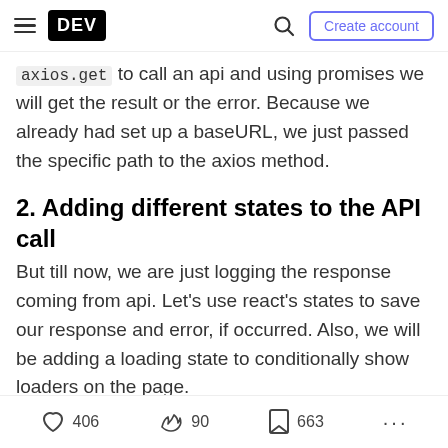DEV — Create account
axios.get to call an api and using promises we will get the result or the error. Because we already had set up a baseURL, we just passed the specific path to the axios method.
2. Adding different states to the API call
But till now, we are just logging the response coming from api. Let's use react's states to save our response and error, if occurred. Also, we will be adding a loading state to conditionally show loaders on the page.
[Figure (screenshot): Dark code block showing: // App Component]
406 likes  90 reactions  663 bookmarks